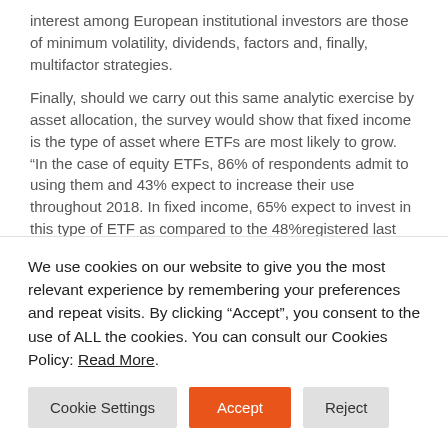interest among European institutional investors are those of minimum volatility, dividends, factors and, finally, multifactor strategies.
Finally, should we carry out this same analytic exercise by asset allocation, the survey would show that fixed income is the type of asset where ETFs are most likely to grow. “In the case of equity ETFs, 86% of respondents admit to using them and 43% expect to increase their use throughout 2018. In fixed income, 65% expect to invest in this type of ETF as compared to the 48%registered last survey. Once again, the main criteria of European institutional investors when deciding on their use are: their liquidity, their cost, their performance and, finally, the choice and composition of the index they follow.
We use cookies on our website to give you the most relevant experience by remembering your preferences and repeat visits. By clicking “Accept”, you consent to the use of ALL the cookies. You can consult our Cookies Policy: Read More.